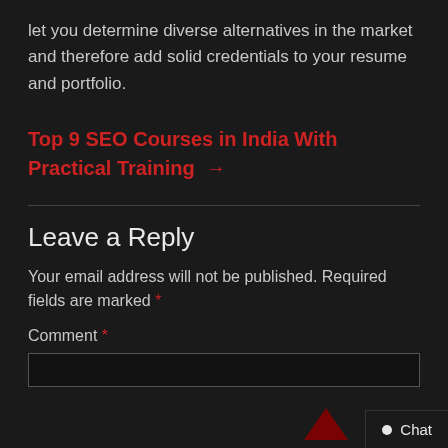let you determine diverse alternatives in the market and therefore add solid credentials to your resume and portfolio.
Top 9 SEO Courses in India With Practical Training →
Leave a Reply
Your email address will not be published. Required fields are marked *
Comment *